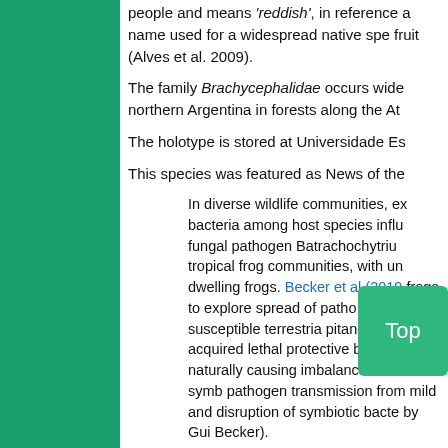people and means 'reddish', in reference a name used for a widespread native spe fruit (Alves et al. 2009).
The family Brachycephalidae occurs wide northern Argentina in forests along the At
The holotype is stored at Universidade Es
This species was featured as News of the
In diverse wildlife communities, ex bacteria among host species influ fungal pathogen Batrachochytriu tropical frog communities, with un dwelling frogs. Becker et al (2019 frogs to explore spread of patho the disease-susceptible terrestria pitanga. Toadlets acquired lethal protective bacteria, from naturally causing imbalances in host symb pathogen transmission from mild and disruption of symbiotic bacte by Gui Becker).
References
Brachycephalus Search (IUCN). (2020, M